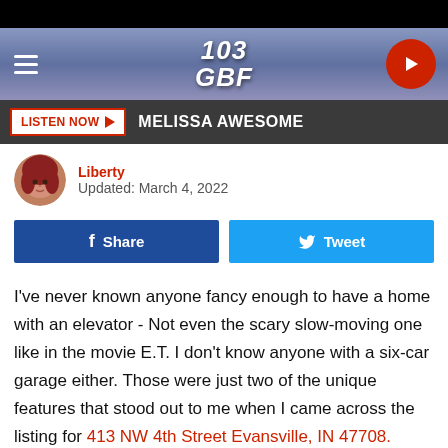[Figure (screenshot): 103 GBF radio station website header with logo, hamburger menu, and play button]
[Figure (screenshot): Listen Now button bar with host name MELISSA AWESOME]
[Figure (photo): Author avatar photo — woman with red hair]
Liberty
Updated: March 4, 2022
[Figure (screenshot): Facebook Share and Twitter Tweet buttons]
I've never known anyone fancy enough to have a home with an elevator - Not even the scary slow-moving one like in the movie E.T. I don't know anyone with a six-car garage either. Those were just two of the unique features that stood out to me when I came across the listing for 413 NW 4th Street Evansville, IN 47708.